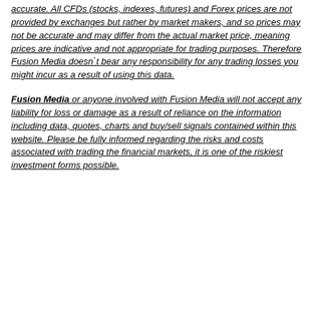accurate. All CFDs (stocks, indexes, futures) and Forex prices are not provided by exchanges but rather by market makers, and so prices may not be accurate and may differ from the actual market price, meaning prices are indicative and not appropriate for trading purposes. Therefore Fusion Media doesn`t bear any responsibility for any trading losses you might incur as a result of using this data.
Fusion Media or anyone involved with Fusion Media will not accept any liability for loss or damage as a result of reliance on the information including data, quotes, charts and buy/sell signals contained within this website. Please be fully informed regarding the risks and costs associated with trading the financial markets, it is one of the riskiest investment forms possible.